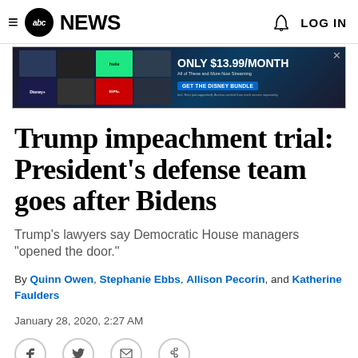≡ abc NEWS   🔔 LOG IN
[Figure (other): Disney Bundle advertisement banner: 'ONLY $13.99/MONTH - All of These and More Now Streaming - GET THE DISNEY BUNDLE' with thumbnail images of streaming services including Hulu, Disney+, ESPN+]
Trump impeachment trial: President's defense team goes after Bidens
Trump's lawyers say Democratic House managers "opened the door."
By Quinn Owen, Stephanie Ebbs, Allison Pecorin, and Katherine Faulders
January 28, 2020, 2:27 AM
[Figure (other): Social media sharing icons: Facebook, Twitter, Email, Link]